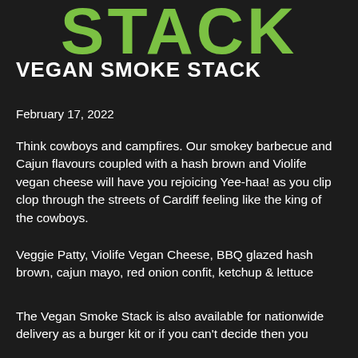[Figure (logo): Partial green bold text logo reading STACK on dark background, cropped at top]
VEGAN SMOKE STACK
February 17, 2022
Think cowboys and campfires. Our smokey barbecue and Cajun flavours coupled with a hash brown and Violife vegan cheese will have you rejoicing Yee-haa! as you clip clop through the streets of Cardiff feeling like the king of the cowboys.
Veggie Patty, Violife Vegan Cheese, BBQ glazed hash brown, cajun mayo, red onion confit, ketchup & lettuce
The Vegan Smoke Stack is also available for nationwide delivery as a burger kit or if you can't decide then you